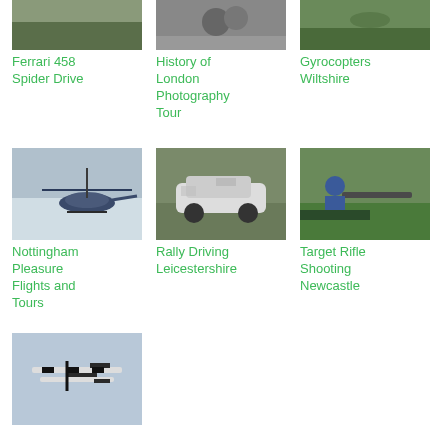[Figure (photo): Aerial/landscape photo - Ferrari 458 Spider Drive thumbnail]
Ferrari 458 Spider Drive
[Figure (photo): Black and white street photography - History of London Photography Tour thumbnail]
History of London Photography Tour
[Figure (photo): Gyrocopter in flight - Gyrocopters Wiltshire thumbnail]
Gyrocopters Wiltshire
[Figure (photo): Helicopter in flight - Nottingham Pleasure Flights and Tours thumbnail]
Nottingham Pleasure Flights and Tours
[Figure (photo): Rally car on road - Rally Driving Leicestershire thumbnail]
Rally Driving Leicestershire
[Figure (photo): Person aiming rifle - Target Rifle Shooting Newcastle thumbnail]
Target Rifle Shooting Newcastle
[Figure (photo): Aerobatic biplane in sky - bottom row thumbnail]